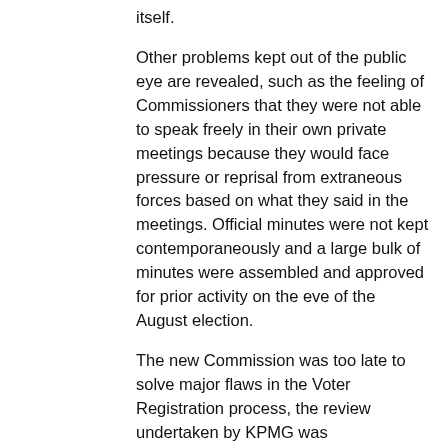itself.
Other problems kept out of the public eye are revealed, such as the feeling of Commissioners that they were not able to speak freely in their own private meetings because they would face pressure or reprisal from extraneous forces based on what they said in the meetings. Official minutes were not kept contemporaneously and a large bulk of minutes were assembled and approved for prior activity on the eve of the August election.
The new Commission was too late to solve major flaws in the Voter Registration process, the review undertaken by KPMG was extraordinarily pricey relative to reviews in other countries, and the known presence of dead voters and allowance for non biometric identification raise questions.
Procurement was taken explicitly as a joke. Akombe makes clear that there is much to be examined in the sole source KIEMS award to OT Morpho (still known as